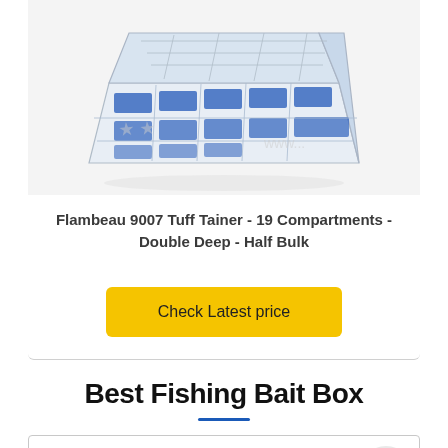[Figure (photo): Flambeau 9007 Tuff Tainer fishing tackle box with 19 compartments, clear plastic with blue dividers, viewed from above at an angle]
Flambeau 9007 Tuff Tainer - 19 Compartments - Double Deep - Half Bulk
Check Latest price
Best Fishing Bait Box
Table of contents [hide]
1  Top 5 Best Fishing Bait Box